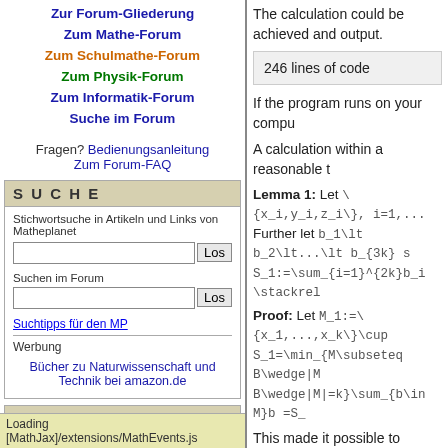Zur Forum-Gliederung
Zum Mathe-Forum
Zum Schulmathe-Forum
Zum Physik-Forum
Zum Informatik-Forum
Suche im Forum
Fragen? Bedienungsanleitung
Zum Forum-FAQ
S U C H E
Stichwortsuche in Artikeln und Links von Matheplanet
K O N T A K T
Mail an Matroid
Loading [MathJax]/extensions/MathEvents.js
The calculation could be achieved and output.
246 lines of code
If the program runs on your compu
A calculation within a reasonable t
Lemma 1: Let \{x_i,y_i,z_i\}, i=1,... Further let b_1\lt b_2\lt...\lt b_{3k} s S_1:=\sum_{i=1}^{2k}b_i \stackrel...
Proof: Let M_1:=\{x_1,...,x_k\}\cup S_1=\min_{M\subseteq B\wedge|M B\wedge|M|=k}\sum_{b\in M}b =S_
This made it possible to discard a criterion is implemented in lines 35
Note 1 (May 1 2020): In an earlier course, this condition is not neces explanations below.
Here are the results of the calculat